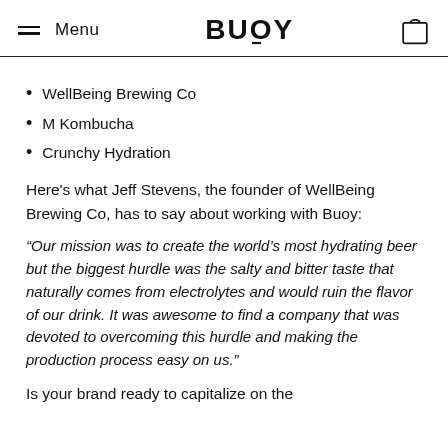Menu | BUOY
WellBeing Brewing Co
M Kombucha
Crunchy Hydration
Here's what Jeff Stevens, the founder of WellBeing Brewing Co, has to say about working with Buoy:
“Our mission was to create the world’s most hydrating beer but the biggest hurdle was the salty and bitter taste that naturally comes from electrolytes and would ruin the flavor of our drink. It was awesome to find a company that was devoted to overcoming this hurdle and making the production process easy on us.”
Is your brand ready to capitalize on the